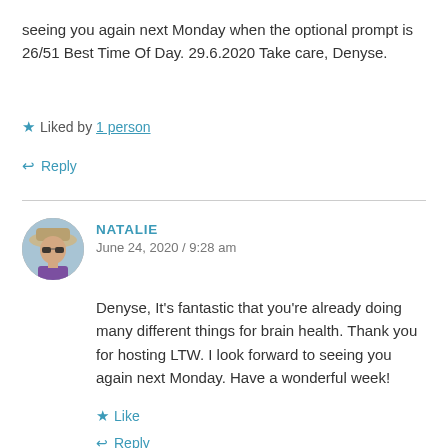seeing you again next Monday when the optional prompt is 26/51 Best Time Of Day. 29.6.2020 Take care, Denyse.
★ Liked by 1 person
↩ Reply
NATALIE
June 24, 2020 / 9:28 am
Denyse, It's fantastic that you're already doing many different things for brain health. Thank you for hosting LTW. I look forward to seeing you again next Monday. Have a wonderful week!
★ Like
↩ Reply